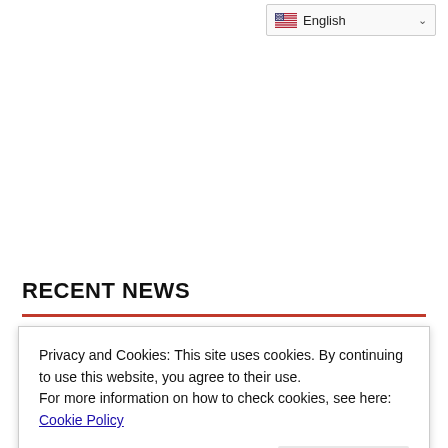[Figure (screenshot): Language selector dropdown showing English with US flag and chevron]
RECENT NEWS
Privacy and Cookies: This site uses cookies. By continuing to use this website, you agree to their use.
For more information on how to check cookies, see here: Cookie Policy
2 Base scores of 4-year- 2023-year departments are online